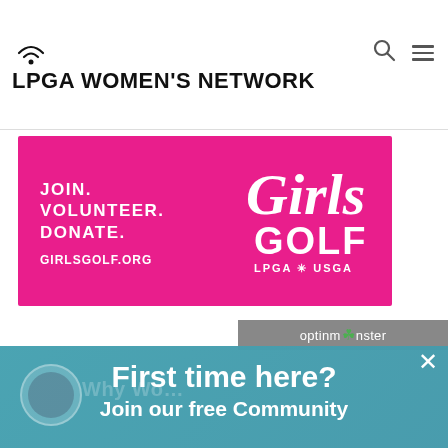[Figure (screenshot): LPGA Women's Network website header with wifi logo, search icon, and hamburger menu. Below is a Girls Golf (LPGA * USGA) promotional banner in pink/magenta with text JOIN. VOLUNTEER. DONATE. GIRLSGOLF.ORG and Girls Golf logo. An OptinMonster popup overlay shows 'First time here? Join our free Community' with an email input field placeholder 'Enter your email here...' and a SUBSCIRBE button.]